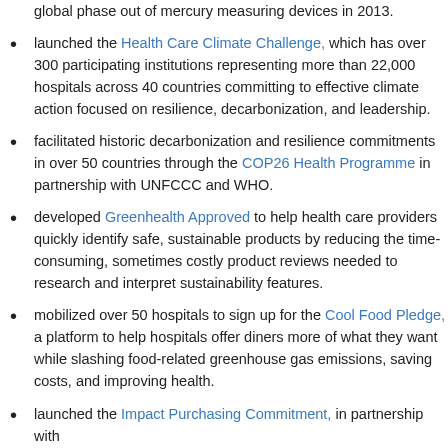global phase out of mercury measuring devices in 2013.
launched the Health Care Climate Challenge, which has over 300 participating institutions representing more than 22,000 hospitals across 40 countries committing to effective climate action focused on resilience, decarbonization, and leadership.
facilitated historic decarbonization and resilience commitments in over 50 countries through the COP26 Health Programme in partnership with UNFCCC and WHO.
developed Greenhealth Approved to help health care providers quickly identify safe, sustainable products by reducing the time-consuming, sometimes costly product reviews needed to research and interpret sustainability features.
mobilized over 50 hospitals to sign up for the Cool Food Pledge, a platform to help hospitals offer diners more of what they want while slashing food-related greenhouse gas emissions, saving costs, and improving health.
launched the Impact Purchasing Commitment, in partnership with